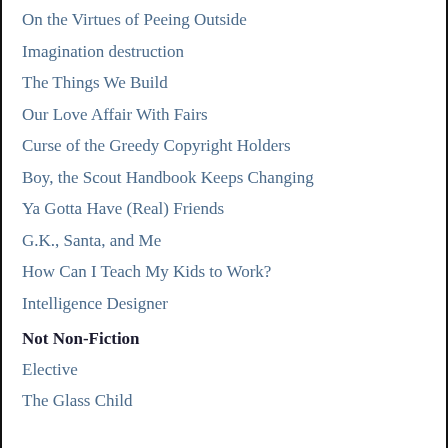On the Virtues of Peeing Outside
Imagination destruction
The Things We Build
Our Love Affair With Fairs
Curse of the Greedy Copyright Holders
Boy, the Scout Handbook Keeps Changing
Ya Gotta Have (Real) Friends
G.K., Santa, and Me
How Can I Teach My Kids to Work?
Intelligence Designer
Not Non-Fiction
Elective
The Glass Child